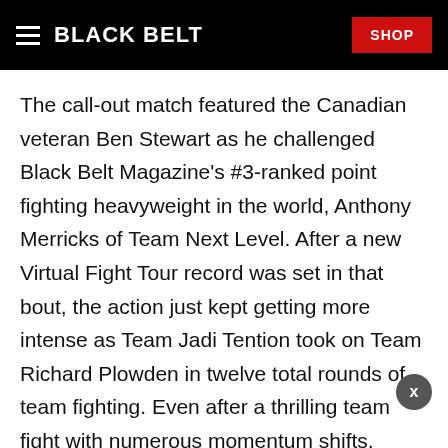BLACK BELT | SHOP
The call-out match featured the Canadian veteran Ben Stewart as he challenged Black Belt Magazine's #3-ranked point fighting heavyweight in the world, Anthony Merricks of Team Next Level. After a new Virtual Fight Tour record was set in that bout, the action just kept getting more intense as Team Jadi Tention took on Team Richard Plowden in twelve total rounds of team fighting. Even after a thrilling team fight with numerous momentum shifts, promoter Jessie Wray still brought out one last fight to keep the fans happy. Keep reading to find out how it all went down at